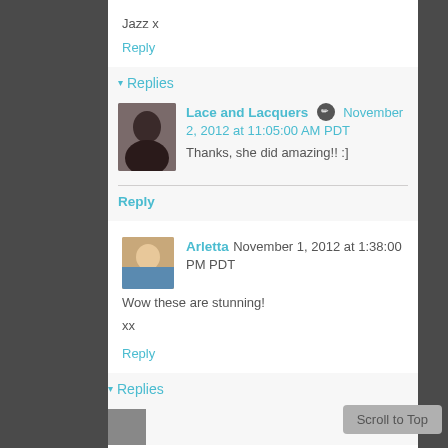Jazz x
Reply
▾ Replies
Lace and Lacquers [icon] November 2, 2012 at 11:05:00 AM PDT
Thanks, she did amazing!! :]
Reply
Arletta  November 1, 2012 at 1:38:00 PM PDT
Wow these are stunning!
xx
Reply
▾ Replies
Scroll to Top